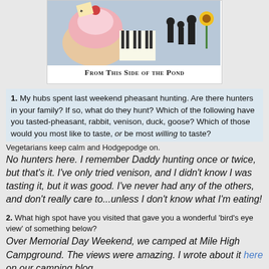[Figure (illustration): Blog banner image showing a cupcake, piano keys, people silhouettes, and sunflower with text 'From This Side of the Pond' in small caps serif font]
1. My hubs spent last weekend pheasant hunting. Are there hunters in your family? If so, what do they hunt? Which of the following have you tasted-pheasant, rabbit, venison, duck, goose? Which of those would you most like to taste, or be most willing to taste?
Vegetarians keep calm and Hodgepodge on.
No hunters here. I remember Daddy hunting once or twice, but that's it. I've only tried venison, and I didn't know I was tasting it, but it was good. I've never had any of the others, and don't really care to...unless I don't know what I'm eating!
2. What high spot have you visited that gave you a wonderful 'bird's eye view' of something below?
Over Memorial Day Weekend, we camped at Mile High Campground. The views were amazing. I wrote about it here on our camping blog. I took this picture as I was sitting in my chair on our